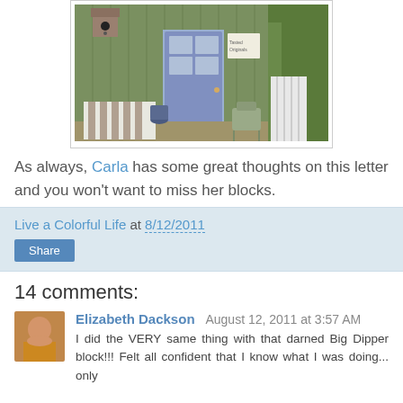[Figure (photo): Photo of a porch/storefront with green siding, a blue/purple door with window panes, a birdhouse, patio furniture including striped chairs, and a white radiator or fence on the right. Trees visible in background.]
As always, Carla has some great thoughts on this letter and you won't want to miss her blocks.
Live a Colorful Life at 8/12/2011
Share
14 comments:
Elizabeth Dackson  August 12, 2011 at 3:57 AM
I did the VERY same thing with that darned Big Dipper block!!! Felt all confident that I know what I was doing... only